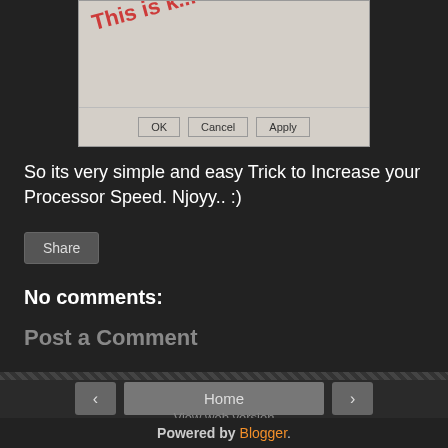[Figure (screenshot): A Windows-style dialog box with a watermark text 'This is...' in red diagonal text, and OK, Cancel, Apply buttons at the bottom]
So its very simple and easy Trick to Increase your Processor Speed. Njoyy.. :)
Share
No comments:
Post a Comment
Home
View web version
Powered by Blogger.